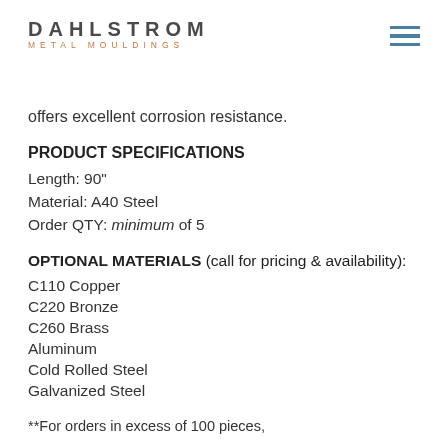DAHLSTROM METAL MOULDINGS
offers excellent corrosion resistance.
PRODUCT SPECIFICATIONS
Length: 90"
Material: A40 Steel
Order QTY: minimum of 5
OPTIONAL MATERIALS (call for pricing & availability):
C110 Copper
C220 Bronze
C260 Brass
Aluminum
Cold Rolled Steel
Galvanized Steel
**For orders in excess of 100 pieces,